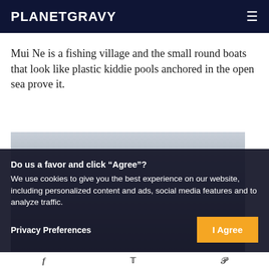PLANETGRAVY
Mui Ne is a fishing village and the small round boats that look like plastic kiddie pools anchored in the open sea prove it.
[Figure (photo): Muted seascape or coastal scene with overcast sky — partially obscured by cookie consent overlay.]
Do us a favor and click “Agree”?
We use cookies to give you the best experience on our website, including personalized content and ads, social media features and to analyze traffic.
Privacy Preferences
I Agree